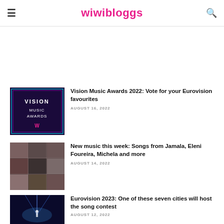wiwibloggs
[Figure (screenshot): Partial top article thumbnail and text stub]
[Figure (photo): Vision Music Awards 2022 logo on dark purple background]
Vision Music Awards 2022: Vote for your Eurovision favourites
AUGUST 16, 2022
[Figure (photo): Collage of artists including Jamala, Eleni Foureira, Michela and others]
New music this week: Songs from Jamala, Eleni Foureira, Michela and more
AUGUST 14, 2022
[Figure (photo): Eurovision stage with dramatic blue lighting and performer]
Eurovision 2023: One of these seven cities will host the song contest
AUGUST 12, 2022